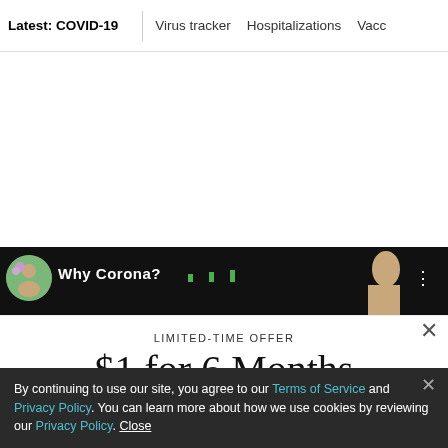Latest: COVID-19 | Virus tracker | Hospitalizations | Vacc
[Figure (screenshot): Video thumbnail strip showing 'Why Corona?' title with avatar icon and three-dot menu on dark background]
LIMITED-TIME OFFER
$1 for 6 Months
SUBSCRIBE NOW
By continuing to use our site, you agree to our Terms of Service and Privacy Policy. You can learn more about how we use cookies by reviewing our Privacy Policy. Close